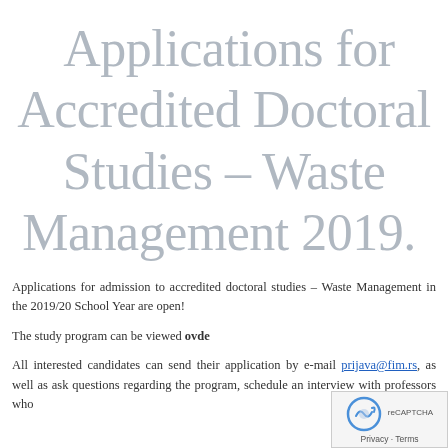Applications for Accredited Doctoral Studies – Waste Management 2019.
Applications for admission to accredited doctoral studies – Waste Management in the 2019/20 School Year are open!
The study program can be viewed ovde
All interested candidates can send their application by e-mail prijava@fim.rs, as well as ask questions regarding the program, schedule an interview with professors who are the subject matter experts.